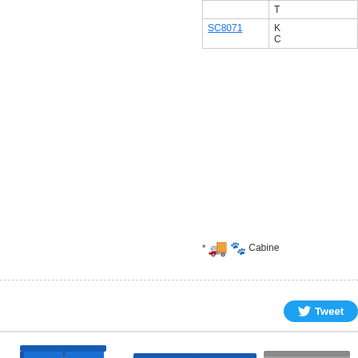|  |  |
| --- | --- |
|  | T |
| SC8071 | K
C |
* Cabinets
[Figure (other): Tweet button with Twitter bird icon]
[Figure (photo): Blue Bench Corrosive Cabinet with CORROSIVE 8 diamond hazard label and padlock]
$846.33
Bench Corrosive Cabinet
[Figure (photo): Blue Mini Stak-a-Cab Corrosives Cabinet SC9042 with two CORROSIVE 8 diamond hazard labels and padlock]
$867.56
Mini Stak-a-Cab™ Corrosives Cabinet SC9042
[Figure (photo): Grey Mini Sta- Combined Acid/Fla- cabinet partially visible]
Mini Sta-
Combin-
Acid/Fla-